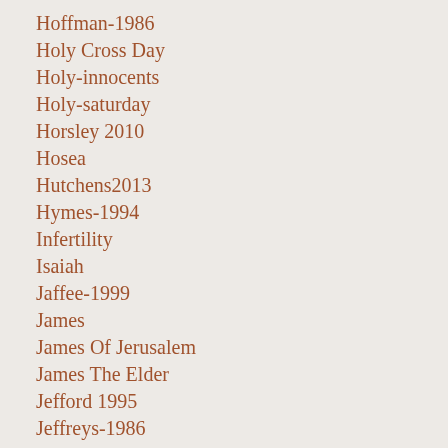Hoffman-1986
Holy Cross Day
Holy-innocents
Holy-saturday
Horsley 2010
Hosea
Hutchens2013
Hymes-1994
Infertility
Isaiah
Jaffee-1999
James
James Of Jerusalem
James The Elder
Jefford 1995
Jeffreys-1986
Jeremiah
Jerome
Job